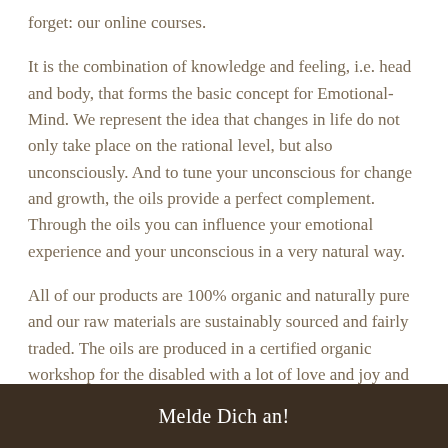forget: our online courses.
It is the combination of knowledge and feeling, i.e. head and body, that forms the basic concept for Emotional-Mind. We represent the idea that changes in life do not only take place on the rational level, but also unconsciously. And to tune your unconscious for change and growth, the oils provide a perfect complement. Through the oils you can influence your emotional experience and your unconscious in a very natural way.
All of our products are 100% organic and naturally pure and our raw materials are sustainably sourced and fairly traded. The oils are produced in a certified organic workshop for the disabled with a lot of love and joy and the employees in the workshop do their
Melde Dich an!